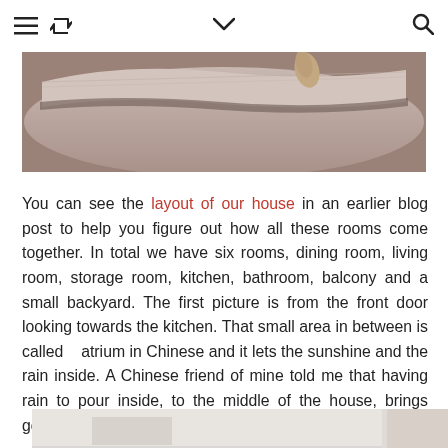≡ ↺ ∨ 🔍
[Figure (photo): Close-up photo of carpet or rug being lifted from a floor, showing the underside and flooring beneath.]
You can see the layout of our house in an earlier blog post to help you figure out how all these rooms come together. In total we have six rooms, dining room, living room, storage room, kitchen, bathroom, balcony and a small backyard. The first picture is from the front door looking towards the kitchen. That small area in between is called atrium in Chinese and it lets the sunshine and the rain inside. A Chinese friend of mine told me that having rain to pour inside, to the middle of the house, brings good luck.
[Figure (photo): Partial view of an interior room, cut off at bottom of page.]